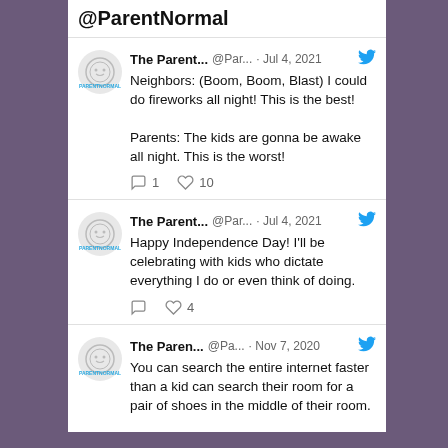@ParentNormal
The Parent... @Par... · Jul 4, 2021
Neighbors: (Boom, Boom, Blast) I could do fireworks all night! This is the best!

Parents: The kids are gonna be awake all night. This is the worst!
[1 reply, 10 likes]
The Parent... @Par... · Jul 4, 2021
Happy Independence Day! I'll be celebrating with kids who dictate everything I do or even think of doing.
[0 replies, 4 likes]
The Paren... @Pa... · Nov 7, 2020
You can search the entire internet faster than a kid can search their room for a pair of shoes in the middle of their room.